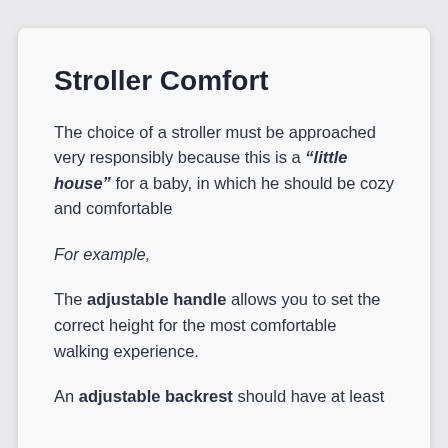Stroller Comfort
The choice of a stroller must be approached very responsibly because this is a “little house” for a baby, in which he should be cozy and comfortable
For example,
The adjustable handle allows you to set the correct height for the most comfortable walking experience.
An adjustable backrest should have at least